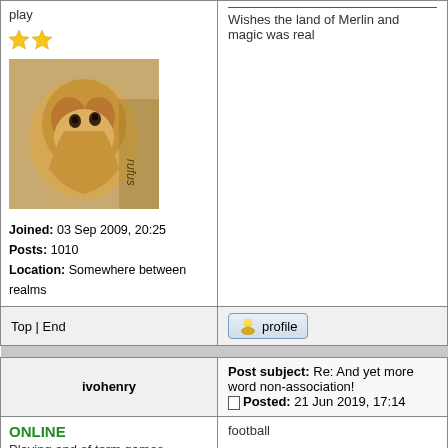| User info | Post content |
| --- | --- |
| play
★★
[avatar: rufus dog]
Joined: 03 Sep 2009, 20:25
Posts: 1010
Location: Somewhere between realms | ___
Wishes the land of Merlin and magic was real |
| Top | End | [profile button] |
| [separator] |  |
| ivohenry | Post subject: Re: And yet more word non-association!
[icon] Posted: 21 Jun 2019, 17:14 |
| ONLINE
Playing end of term games
★★★★★
[avatar: book worm]
Joined: 03 Jan 2010, 22:35
Posts: 2527 | football |